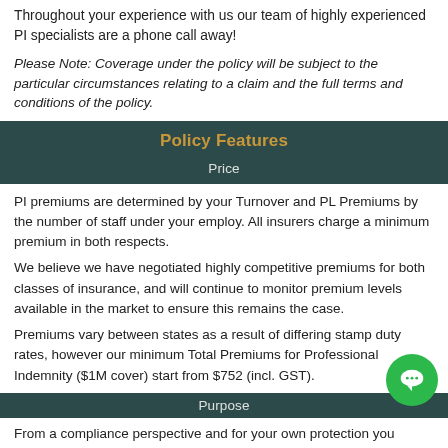Throughout your experience with us our team of highly experienced PI specialists are a phone call away!
Please Note: Coverage under the policy will be subject to the particular circumstances relating to a claim and the full terms and conditions of the policy.
Policy Features
Price
PI premiums are determined by your Turnover and PL Premiums by the number of staff under your employ. All insurers charge a minimum premium in both respects.
We believe we have negotiated highly competitive premiums for both classes of insurance, and will continue to monitor premium levels available in the market to ensure this remains the case.
Premiums vary between states as a result of differing stamp duty rates, however our minimum Total Premiums for Professional Indemnity ($1M cover) start from $752 (incl. GST).
Purpose
From a compliance perspective and for your own protection you should have